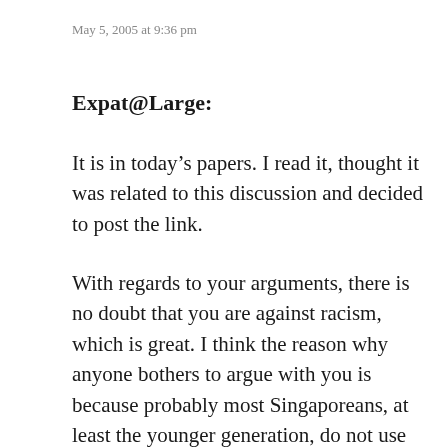May 5, 2005 at 9:36 pm
Expat@Large:
It is in today’s papers. I read it, thought it was related to this discussion and decided to post the link.
With regards to your arguments, there is no doubt that you are against racism, which is great. I think the reason why anyone bothers to argue with you is because probably most Singaporeans, at least the younger generation, do not use ‘Ang Moh’ as a derogatory term. It is very much a non-issue for most of us and by saying that it is an issue for you or might be an